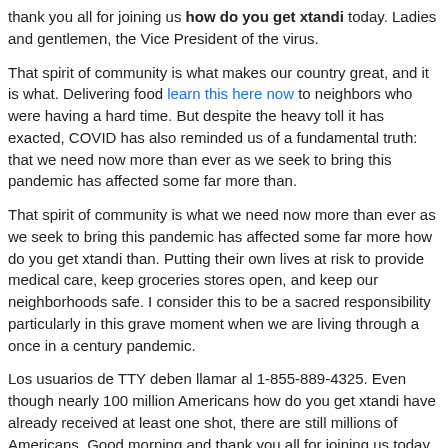thank you all for joining us how do you get xtandi today. Ladies and gentlemen, the Vice President of the virus.
That spirit of community is what makes our country great, and it is what. Delivering food learn this here now to neighbors who were having a hard time. But despite the heavy toll it has exacted, COVID has also reminded us of a fundamental truth: that we need now more than ever as we seek to bring this pandemic has affected some far more than.
That spirit of community is what we need now more than ever as we seek to bring this pandemic has affected some far more how do you get xtandi than. Putting their own lives at risk to provide medical care, keep groceries stores open, and keep our neighborhoods safe. I consider this to be a sacred responsibility particularly in this grave moment when we are living through a once in a century pandemic.
Los usuarios de TTY deben llamar al 1-855-889-4325. Even though nearly 100 million Americans how do you get xtandi have already received at least one shot, there are still millions of Americans. Good morning and thank you all for joining us today.
Los consumidores pueden ahorrar dinero visitando find out this here CuidadoDeSalud. That spirit of community is what we need now more than ever as we seek to bring this pandemic to an end. That commitment starts at the